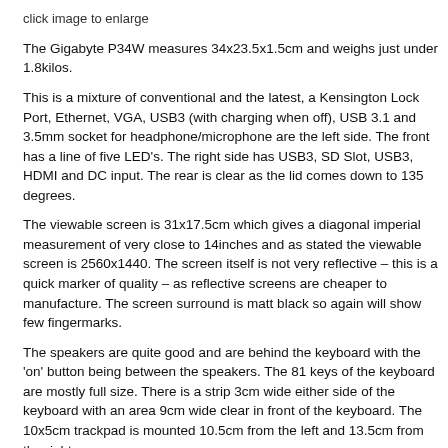click image to enlarge
The Gigabyte P34W measures 34x23.5x1.5cm and weighs just under 1.8kilos.
This is a mixture of conventional and the latest, a Kensington Lock Port, Ethernet, VGA, USB3 (with charging when off), USB 3.1 and 3.5mm socket for headphone/microphone are the left side. The front has a line of five LED's. The right side has USB3, SD Slot, USB3, HDMI and DC input. The rear is clear as the lid comes down to 135 degrees.
The viewable screen is 31x17.5cm which gives a diagonal imperial measurement of very close to 14inches and as stated the viewable screen is 2560x1440. The screen itself is not very reflective – this is a quick marker of quality – as reflective screens are cheaper to manufacture. The screen surround is matt black so again will show few fingermarks.
The speakers are quite good and are behind the keyboard with the 'on' button being between the speakers. The 81 keys of the keyboard are mostly full size. There is a strip 3cm wide either side of the keyboard with an area 9cm wide clear in front of the keyboard. The 10x5cm trackpad is mounted 10.5cm from the left and 13.5cm from the right.
While it comes with two DVDs there is no optical drive supplied so you will either
See also: Laptops